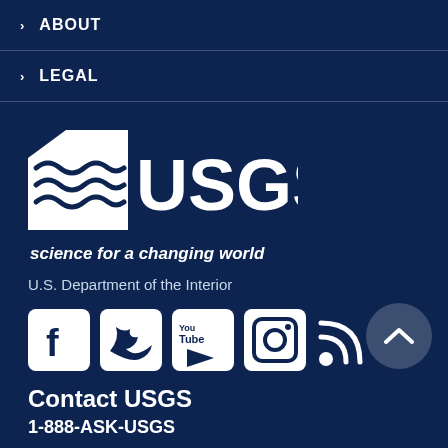> ABOUT
> LEGAL
[Figure (logo): USGS logo with wave/terrain graphic and text 'USGS science for a changing world']
U.S. Department of the Interior
[Figure (infographic): Social media icons: Facebook, Twitter, YouTube, Instagram, RSS feed, and a back-to-top button]
Contact USGS
1-888-ASK-USGS